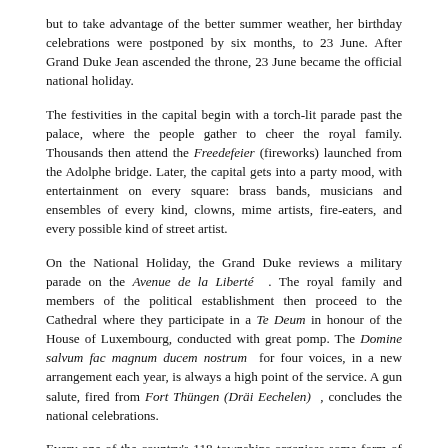but to take advantage of the better summer weather, her birthday celebrations were postponed by six months, to 23 June. After Grand Duke Jean ascended the throne, 23 June became the official national holiday.
The festivities in the capital begin with a torch-lit parade past the palace, where the people gather to cheer the royal family. Thousands then attend the Freedefeier (fireworks) launched from the Adolphe bridge. Later, the capital gets into a party mood, with entertainment on every square: brass bands, musicians and ensembles of every kind, clowns, mime artists, fire-eaters, and every possible kind of street artist.
On the National Holiday, the Grand Duke reviews a military parade on the Avenue de la Liberté . The royal family and members of the political establishment then proceed to the Cathedral where they participate in a Te Deum in honour of the House of Luxembourg, conducted with great pomp. The Domine salvum fac magnum ducem nostrum for four voices, in a new arrangement each year, is always a high point of the service. A gun salute, fired from Fort Thüngen (Dräi Eechelen) , concludes the national celebrations.
Every one of the country's 118 townships organises some form of celebration. The local church sponsors a Te Deum , the mayor addresses the assembled citizenry in a patriotic speech, deserving members of local associations, brass bands and volunteer fire-fighting associations step forward to have a bright medal pinned to their proud chests. And then the representatives of the town's political establishment, and its clubs and associations repair to a local restaurant for the banquet démocratique.
The Schueberfouer